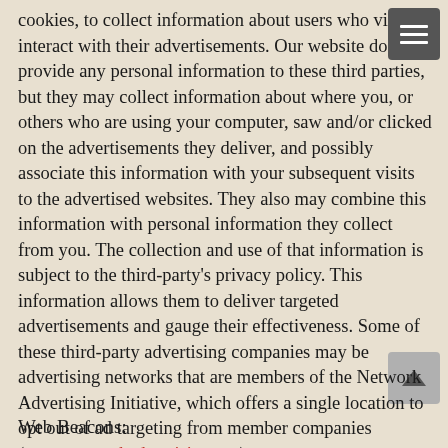cookies, to collect information about users who view or interact with their advertisements. Our website does not provide any personal information to these third parties, but they may collect information about where you, or others who are using your computer, saw and/or clicked on the advertisements they deliver, and possibly associate this information with your subsequent visits to the advertised websites. They also may combine this information with personal information they collect from you. The collection and use of that information is subject to the third-party's privacy policy. This information allows them to deliver targeted advertisements and gauge their effectiveness. Some of these third-party advertising companies may be advertising networks that are members of the Network Advertising Initiative, which offers a single location to opt out of ad targeting from member companies (www.networkadvertising.org).
Web Beacons: